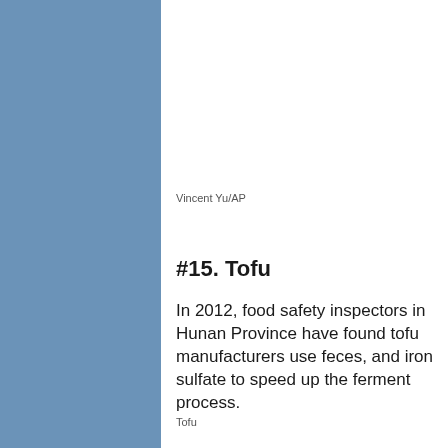[Figure (illustration): Blue sidebar on the left side of the page]
Vincent Yu/AP
#15. Tofu
In 2012, food safety inspectors in Hunan Province have found tofu manufacturers use feces, and iron sulfate to speed up the ferment process.
[Figure (photo): Broken image placeholder labeled Tofu]